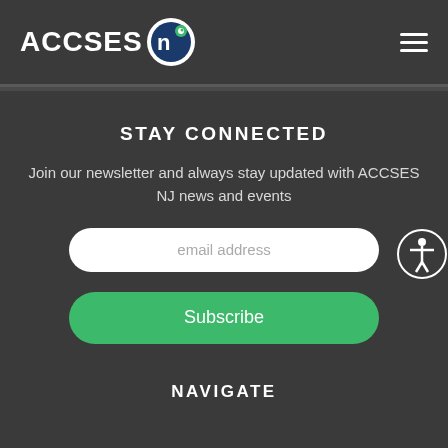ACCSES NJ
STAY CONNECTED
Join our newsletter and always stay updated with ACCSES NJ news and events
email address
Subscribe
NAVIGATE